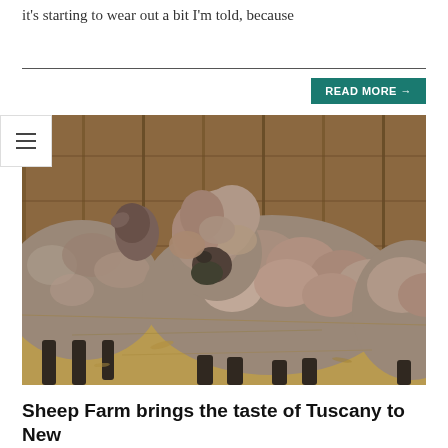it's starting to wear out a bit I'm told, because
READ MORE →
[Figure (photo): Two fluffy grey/brown sheep with thick woolly coats standing inside a barn with wooden walls and hay on the floor. The sheep in the center faces the camera showing a dark face obscured by thick wool.]
Sheep Farm brings the taste of Tuscany to New